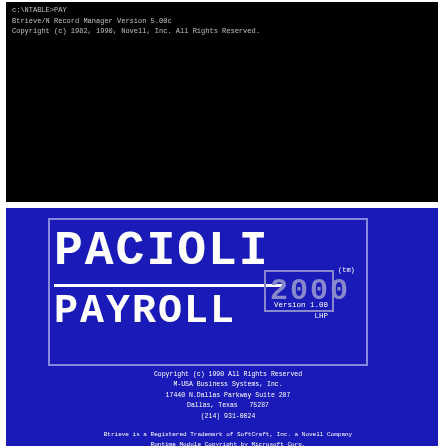[Figure (screenshot): Black DOS terminal screen showing path 'c:\NTABLE>PAY' and text 'Btrieve/N Record Manager Version 5.00c' and 'Copyright (c) 1982, 1990, Novell, Inc.  All Rights Reserved.']
[Figure (screenshot): Blue splash screen for Pacioli 2000 Payroll software, Version 1.00 LHP. Contains large pixel-style logo text 'PACIOLI' and 'PAYROLL', the number '2000' with (tm) mark, copyright info for M-USA Business Systems Inc., address 17440 N.Dallas Parkway Suite 207, Dallas Texas 75287, phone (214) 931-0024, and Btrieve trademark notice.]